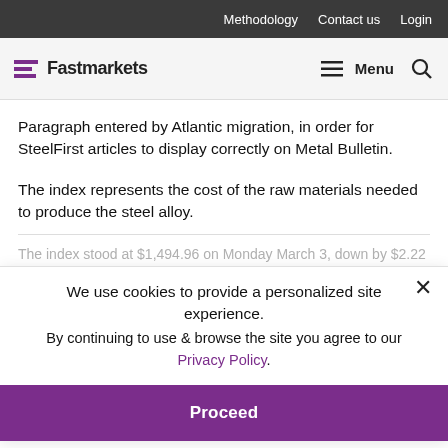Methodology  Contact us  Login
Fastmarkets  Menu
Paragraph entered by Atlantic migration, in order for SteelFirst articles to display correctly on Metal Bulletin.
The index represents the cost of the raw materials needed to produce the steel alloy.
The index stood at $1,494.96 on Monday March 3, down by $2.22 from the previous week and down by $239.89 compared with the corresponding time last year.
We use cookies to provide a personalized site experience.
By continuing to use & browse the site you agree to our Privacy Policy.
the raw materials needed to melt stainless steel of